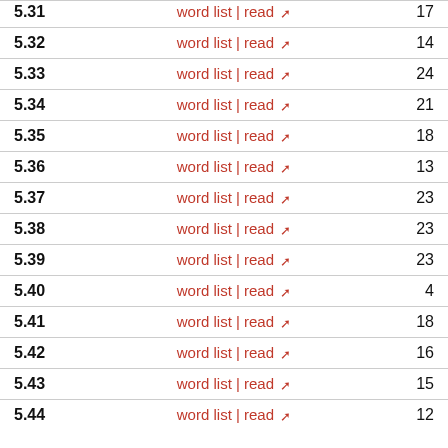| Section | Links | Count |
| --- | --- | --- |
| 5.32 | word list | read ↗ | 14 |
| 5.33 | word list | read ↗ | 24 |
| 5.34 | word list | read ↗ | 21 |
| 5.35 | word list | read ↗ | 18 |
| 5.36 | word list | read ↗ | 13 |
| 5.37 | word list | read ↗ | 23 |
| 5.38 | word list | read ↗ | 23 |
| 5.39 | word list | read ↗ | 23 |
| 5.40 | word list | read ↗ | 4 |
| 5.41 | word list | read ↗ | 18 |
| 5.42 | word list | read ↗ | 16 |
| 5.43 | word list | read ↗ | 15 |
| 5.44 | word list | read ↗ | 12 |